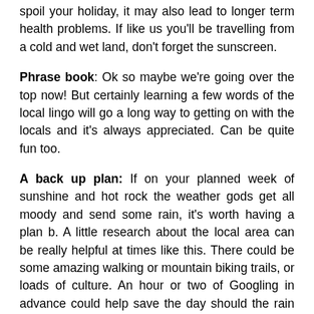spoil your holiday, it may also lead to longer term health problems. If like us you'll be travelling from a cold and wet land, don't forget the sunscreen.
Phrase book: Ok so maybe we're going over the top now! But certainly learning a few words of the local lingo will go a long way to getting on with the locals and it's always appreciated. Can be quite fun too.
A back up plan: If on your planned week of sunshine and hot rock the weather gods get all moody and send some rain, it's worth having a plan b. A little research about the local area can be really helpful at times like this. There could be some amazing walking or mountain biking trails, or loads of culture. An hour or two of Googling in advance could help save the day should the rain follow the plane!!
Thanks for reading. We offer climbing and other